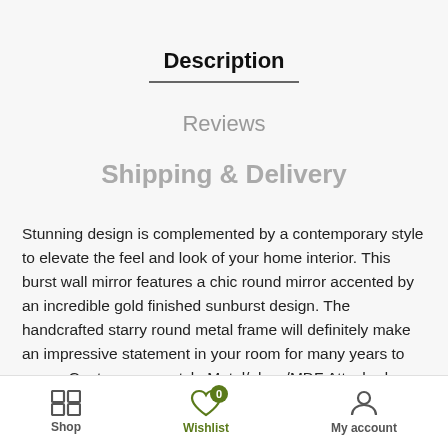Description
Reviews
Shipping & Delivery
Stunning design is complemented by a contemporary style to elevate the feel and look of your home interior. This burst wall mirror features a chic round mirror accented by an incredible gold finished sunburst design. The handcrafted starry round metal frame will definitely make an impressive statement in your room for many years to come. Contemporary style Metal/glass/MDF Attached keyhole hanging method Vertical hanging orientation Wipe clean
Shop   Wishlist 0   My account